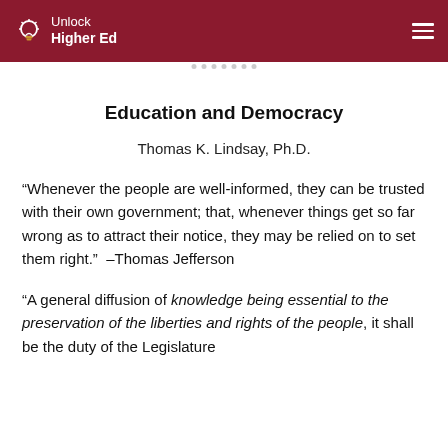Unlock Higher Ed
Education and Democracy
Thomas K. Lindsay, Ph.D.
“Whenever the people are well-informed, they can be trusted with their own government; that, whenever things get so far wrong as to attract their notice, they may be relied on to set them right.”  –Thomas Jefferson
“A general diffusion of knowledge being essential to the preservation of the liberties and rights of the people, it shall be the duty of the Legislature